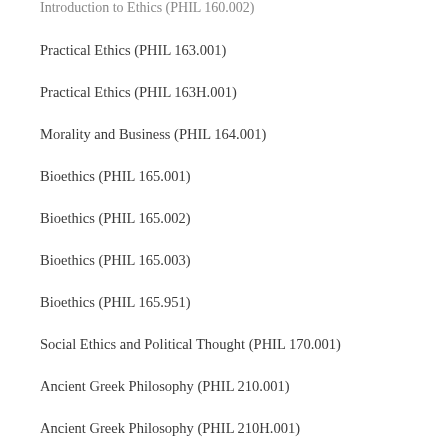Introduction to Ethics (PHIL 160.002)
Practical Ethics (PHIL 163.001)
Practical Ethics (PHIL 163H.001)
Morality and Business (PHIL 164.001)
Bioethics (PHIL 165.001)
Bioethics (PHIL 165.002)
Bioethics (PHIL 165.003)
Bioethics (PHIL 165.951)
Social Ethics and Political Thought (PHIL 170.001)
Ancient Greek Philosophy (PHIL 210.001)
Ancient Greek Philosophy (PHIL 210H.001)
Modern Philosophy (PHIL ???.???)